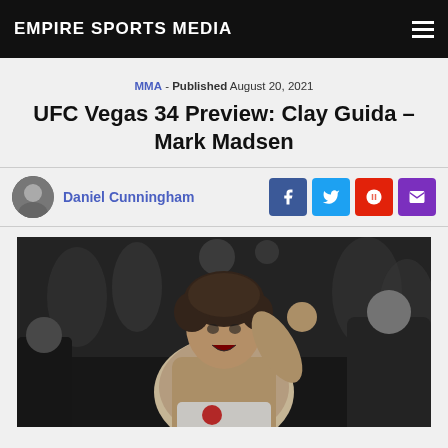EMPIRE SPORTS MEDIA
MMA - Published August 20, 2021
UFC Vegas 34 Preview: Clay Guida – Mark Madsen
Daniel Cunningham
[Figure (photo): Clay Guida fighter photo at UFC event, crowd in background]